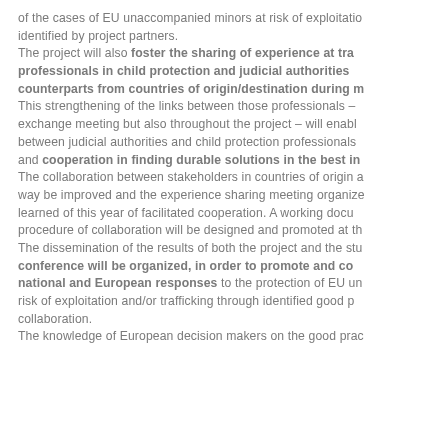of the cases of EU unaccompanied minors at risk of exploitation identified by project partners. The project will also foster the sharing of experience at transnational level between professionals in child protection and judicial authorities and their counterparts from countries of origin/destination during meetings. This strengthening of the links between those professionals – during the exchange meeting but also throughout the project – will enable better cooperation between judicial authorities and child protection professionals from both areas and cooperation in finding durable solutions in the best interest of the child. The collaboration between stakeholders in countries of origin and destination may be improved and the experience sharing meeting organized will draw lessons learned of this year of facilitated cooperation. A working document on a procedure of collaboration will be designed and promoted at the national levels. The dissemination of the results of both the project and the study: a conference will be organized, in order to promote and coordinate national and European responses to the protection of EU unaccompanied minors at risk of exploitation and/or trafficking through identified good practices and collaboration. The knowledge of European decision makers on the good practices